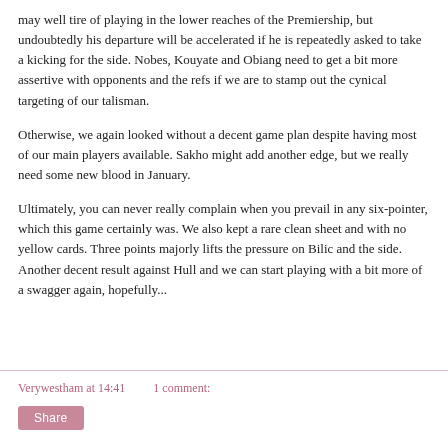may well tire of playing in the lower reaches of the Premiership, but undoubtedly his departure will be accelerated if he is repeatedly asked to take a kicking for the side. Nobes, Kouyate and Obiang need to get a bit more assertive with opponents and the refs if we are to stamp out the cynical targeting of our talisman.
Otherwise, we again looked without a decent game plan despite having most of our main players available. Sakho might add another edge, but we really need some new blood in January.
Ultimately, you can never really complain when you prevail in any six-pointer, which this game certainly was. We also kept a rare clean sheet and with no yellow cards. Three points majorly lifts the pressure on Bilic and the side. Another decent result against Hull and we can start playing with a bit more of a swagger again, hopefully...
Verywestham at 14:41   1 comment:
Share